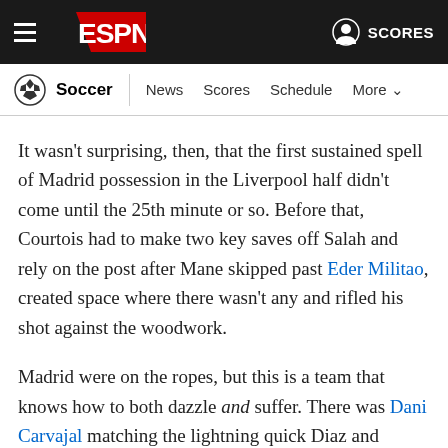ESPN - Soccer - News Scores Schedule More | SCORES
It wasn't surprising, then, that the first sustained spell of Madrid possession in the Liverpool half didn't come until the 25th minute or so. Before that, Courtois had to make two key saves off Salah and rely on the post after Mane skipped past Eder Militao, created space where there wasn't any and rifled his shot against the woodwork.
Madrid were on the ropes, but this is a team that knows how to both dazzle and suffer. There was Dani Carvajal matching the lightning quick Diaz and poking the ball away, generating a roar from the white-clad mass behind the Madrid goal. There was David Alaba, demanding and getting a massive chest-bump from his defensive partner, Militao. They needed a spark and they got it from the way they defended.